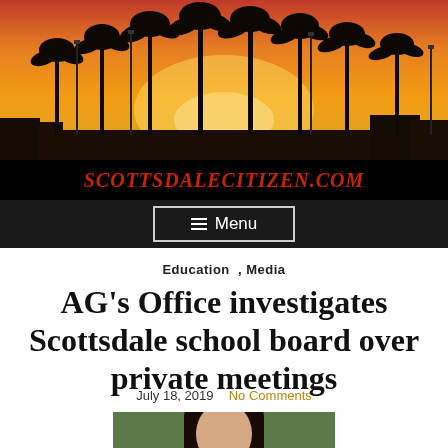[Figure (photo): Scottsdale Citizen website header banner showing palm trees silhouetted against a vivid orange-red sunset sky, with the site name ScottsdaleCitizen.com in red italic text on a black bar below, and a Menu button]
ScottsdaleCitizen.com
Education , Media
AG's Office investigates Scottsdale school board over private meetings
July 18, 2019   No Comments
[Figure (photo): Partial photo of a woman with dark hair, cropped at the bottom of the page]